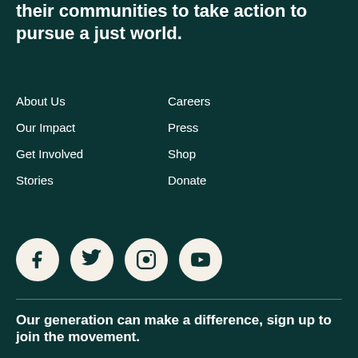their communities to take action to pursue a just world.
About Us
Our Impact
Get Involved
Stories
Careers
Press
Shop
Donate
[Figure (illustration): Four social media icons in white circles on dark background: Facebook, Twitter, Instagram, YouTube]
Our generation can make a difference, sign up to join the movement.